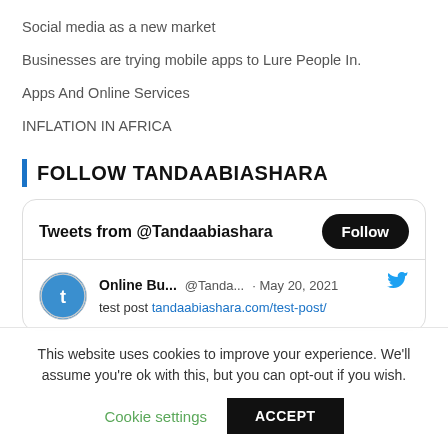Social media as a new market
Businesses are trying mobile apps to Lure People In.
Apps And Online Services
INFLATION IN AFRICA
FOLLOW TANDAABIASHARA
[Figure (screenshot): Twitter widget showing 'Tweets from @Tandaabiashara' with a Follow button, and a tweet from 'Online Bu... @Tanda... · May 20, 2021' saying 'test post tandaabiashara.com/test-post/']
This website uses cookies to improve your experience. We'll assume you're ok with this, but you can opt-out if you wish.
Cookie settings   ACCEPT